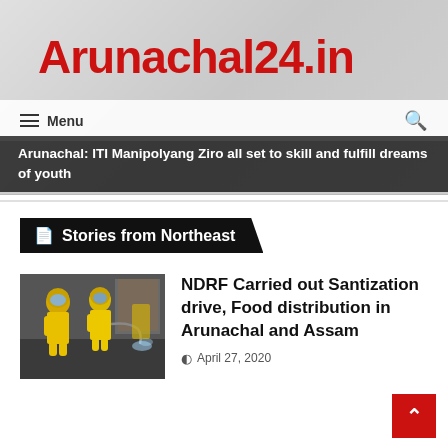Arunachal24.in
Menu
Arunachal: ITI Manipolyang Ziro all set to skill and fulfill dreams of youth
Stories from Northeast
[Figure (photo): Two NDRF workers in yellow hazmat suits performing sanitization inside a building]
NDRF Carried out Santization drive, Food distribution in Arunachal and Assam
April 27, 2020